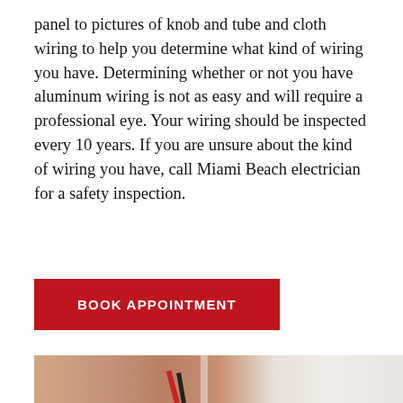panel to pictures of knob and tube and cloth wiring to help you determine what kind of wiring you have. Determining whether or not you have aluminum wiring is not as easy and will require a professional eye. Your wiring should be inspected every 10 years. If you are unsure about the kind of wiring you have, call Miami Beach electrician for a safety inspection.
[Figure (other): Red button/banner with white uppercase text reading BOOK APPOINTMENT]
[Figure (photo): A person's hand working with electrical wires (red and black) at an electrical outlet or panel, close-up photo]